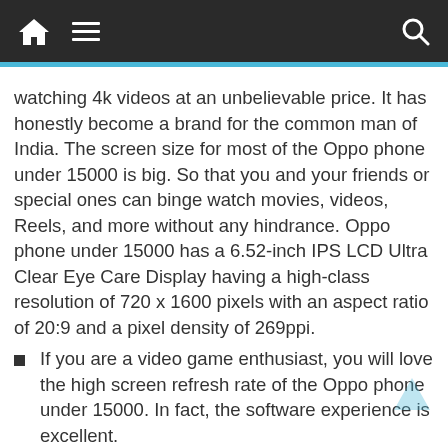Navigation bar with home, menu, and search icons
watching 4k videos at an unbelievable price. It has honestly become a brand for the common man of India. The screen size for most of the Oppo phone under 15000 is big. So that you and your friends or special ones can binge watch movies, videos, Reels, and more without any hindrance. Oppo phone under 15000 has a 6.52-inch IPS LCD Ultra Clear Eye Care Display having a high-class resolution of 720 x 1600 pixels with an aspect ratio of 20:9 and a pixel density of 269ppi.
If you are a video game enthusiast, you will love the high screen refresh rate of the Oppo phone under 15000. In fact, the software experience is excellent.
The processor of most of the 5G mobiles from Oppo is enabled with high-performing processors to help the users experience a lag-free surfing experience. The processors used are Qualcomm Snapdragon, MediaTek